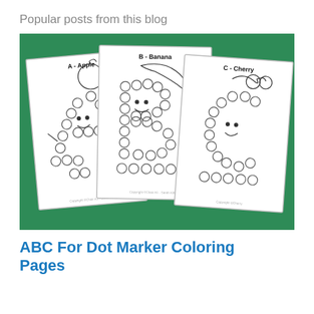Popular posts from this blog
[Figure (illustration): Three overlapping dot-marker coloring worksheets on a green background. Left sheet shows 'A - Apple', middle shows 'B - Banana', right shows 'C - Cherry'. Each worksheet features a cartoon fruit character with bubble-dot letter outlines for dot marker coloring activities.]
ABC For Dot Marker Coloring Pages